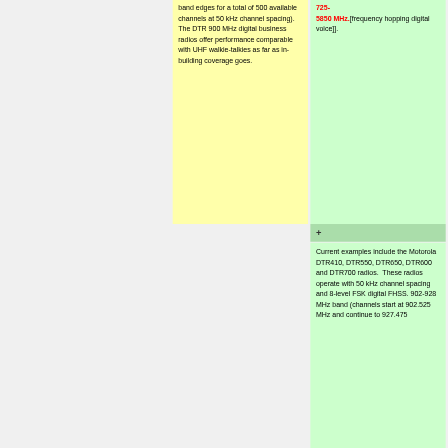band edges for a total of 500 available channels at 50 kHz channel spacing). The DTR 900 MHz digital business radios offer performance comparable with UHF walkie-talkies as far as in-building coverage goes.
725-5850 MHz.[frequency hopping digital voice]].
+
Current examples include the Motorola DTR410, DTR550, DTR650, DTR600 and DTR700 radios.  These radios operate with 50 kHz channel spacing and 8-level FSK digital FHSS. 902-928 MHz band (channels start at 902.525 MHz and continue to 927.475